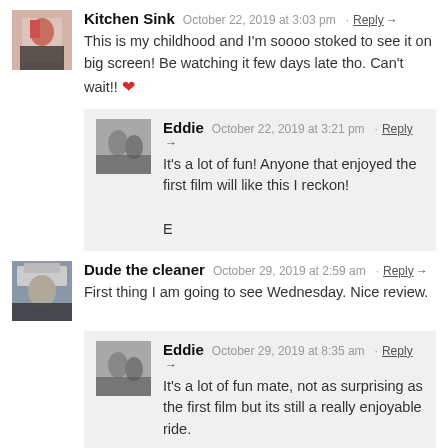Kitchen Sink — October 22, 2019 at 3:03 pm — Reply → This is my childhood and I'm soooo stoked to see it on big screen! Be watching it few days late tho. Can't wait!! ❤
Eddie — October 22, 2019 at 3:21 pm — Reply → It's a lot of fun! Anyone that enjoyed the first film will like this I reckon! E
Dude the cleaner — October 29, 2019 at 2:59 am — Reply → First thing I am going to see Wednesday. Nice review.
Eddie — October 29, 2019 at 8:35 am — Reply → It's a lot of fun mate, not as surprising as the first film but its still a really enjoyable ride. E